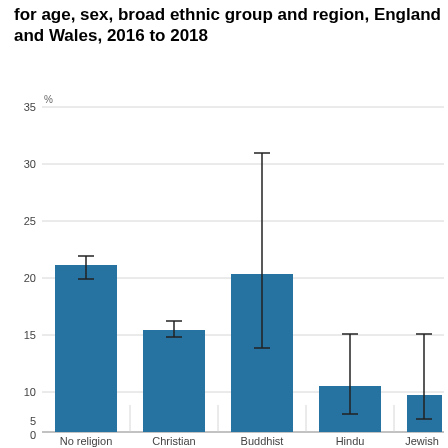for age, sex, broad ethnic group and region, England and Wales, 2016 to 2018
[Figure (bar-chart): Percentage reporting depression by religion, adjusted for age, sex, broad ethnic group and region, England and Wales, 2016 to 2018]